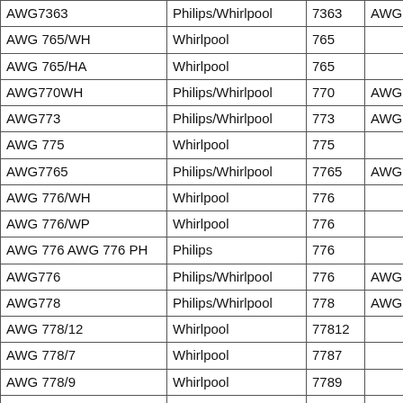| Model | Brand | Number | Alt |
| --- | --- | --- | --- |
| AWG7363 | Philips/Whirlpool | 7363 | AWG7... |
| AWG 765/WH | Whirlpool | 765 |  |
| AWG 765/HA | Whirlpool | 765 |  |
| AWG770WH | Philips/Whirlpool | 770 | AWG7 |
| AWG773 | Philips/Whirlpool | 773 | AWG7 |
| AWG 775 | Whirlpool | 775 |  |
| AWG7765 | Philips/Whirlpool | 7765 | AWG7 |
| AWG 776/WH | Whirlpool | 776 |  |
| AWG 776/WP | Whirlpool | 776 |  |
| AWG 776 AWG 776 PH | Philips | 776 |  |
| AWG776 | Philips/Whirlpool | 776 | AWG7 |
| AWG778 | Philips/Whirlpool | 778 | AWG7 |
| AWG 778/12 | Whirlpool | 77812 |  |
| AWG 778/7 | Whirlpool | 7787 |  |
| AWG 778/9 | Whirlpool | 7789 |  |
| AWG 790 | Whirlpool | 790 |  |
| AWG798 | Philips/Whirlpool | 798 | AWG7... |